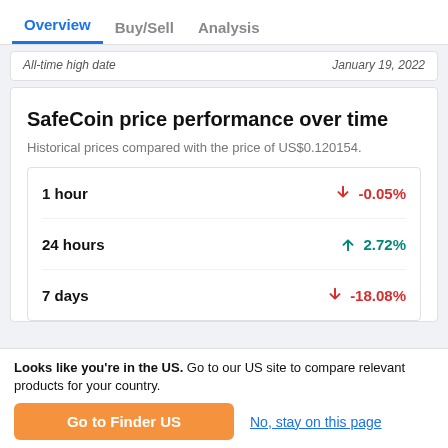Overview | Buy/Sell | Analysis
| All-time high date | January 19, 2022 |
| --- | --- |
SafeCoin price performance over time
Historical prices compared with the price of US$0.120154.
| Period | Change |
| --- | --- |
| 1 hour | -0.05% |
| 24 hours | 2.72% |
| 7 days | -18.08% |
Looks like you're in the US. Go to our US site to compare relevant products for your country.
Go to Finder US
No, stay on this page